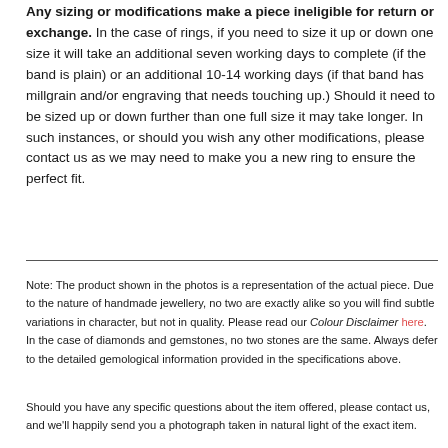Any sizing or modifications make a piece ineligible for return or exchange. In the case of rings, if you need to size it up or down one size it will take an additional seven working days to complete (if the band is plain) or an additional 10-14 working days (if that band has millgrain and/or engraving that needs touching up.) Should it need to be sized up or down further than one full size it may take longer. In such instances, or should you wish any other modifications, please contact us as we may need to make you a new ring to ensure the perfect fit.
Note: The product shown in the photos is a representation of the actual piece. Due to the nature of handmade jewellery, no two are exactly alike so you will find subtle variations in character, but not in quality. Please read our Colour Disclaimer here. In the case of diamonds and gemstones, no two stones are the same. Always defer to the detailed gemological information provided in the specifications above.
Should you have any specific questions about the item offered, please contact us, and we'll happily send you a photograph taken in natural light of the exact item.